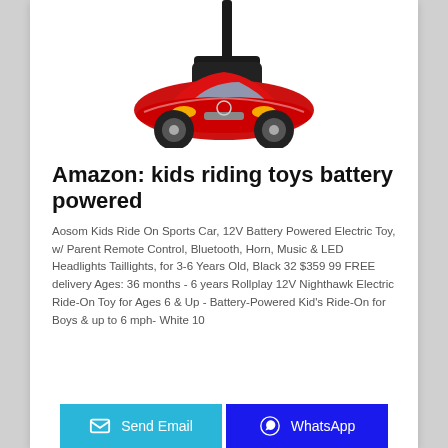[Figure (photo): Red kids ride-on toy car (resembling a sports car/Mercedes) with a black push handle/parent handle attached to the back, shown on a white background.]
Amazon: kids riding toys battery powered
Aosom Kids Ride On Sports Car, 12V Battery Powered Electric Toy, w/ Parent Remote Control, Bluetooth, Horn, Music & LED Headlights Taillights, for 3-6 Years Old, Black 32 $359 99 FREE delivery Ages: 36 months - 6 years Rollplay 12V Nighthawk Electric Ride-On Toy for Ages 6 & Up - Battery-Powered Kid's Ride-On for Boys & up to 6 mph- White 10
Send Email   WhatsApp